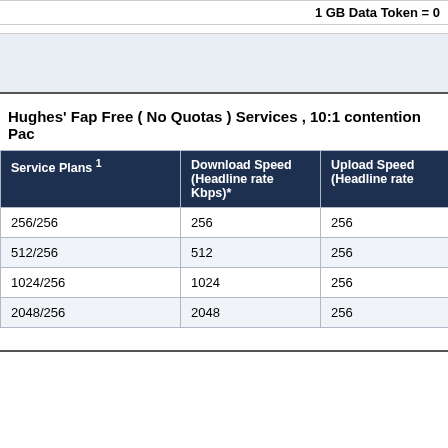1 GB Data Token = 0...
Hughes' Fap Free ( No Quotas ) Services , 10:1 contention Pac...
| Service Plans 1 | Download Speed (Headline rate Kbps)* | Upload Speed (Headline rate... |
| --- | --- | --- |
| 256/256 | 256 | 256 |
| 512/256 | 512 | 256 |
| 1024/256 | 1024 | 256 |
| 2048/256 | 2048 | 256 |